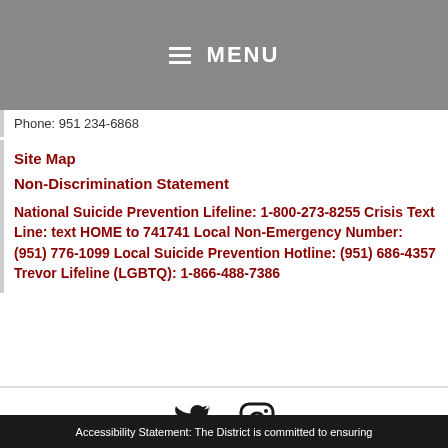≡ MENU
Phone: 951 234-6868
Site Map
Non-Discrimination Statement
National Suicide Prevention Lifeline: 1-800-273-8255 Crisis Text Line: text HOME to 741741 Local Non-Emergency Number: (951) 776-1099 Local Suicide Prevention Hotline: (951) 686-4357 Trevor Lifeline (LGBTQ): 1-866-488-7386
[Figure (other): Twitter and Instagram social media icons]
Accessibility Statement: The District is committed to ensuring